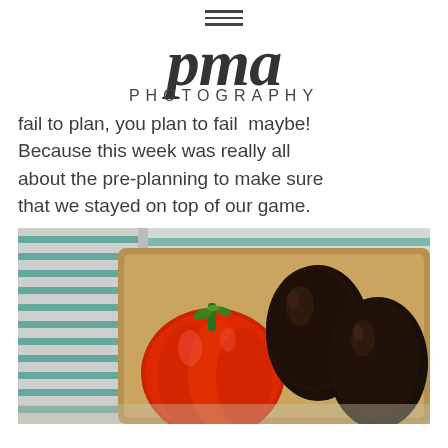pma PHOTOGRAPHY
fail to plan, you plan to fail  maybe! Because this week was really all about the pre-planning to make sure that we stayed on top of our game.
[Figure (photo): A red bell pepper and two dark avocados on a wooden cutting board with a teal-striped cloth in the background.]